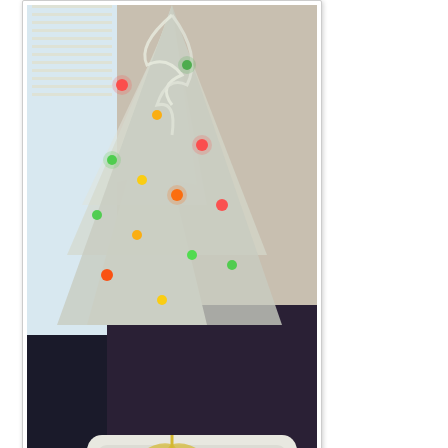[Figure (photo): A fluffy white/cream Persian cat sitting inside a white plastic pet carrier, which is positioned under a white artificial Christmas tree decorated with colorful lights (red, green, orange). The tree is near a window with blinds. The carrier sits on a dark patterned blanket/mat with colorful dots.]
Myst (Muddy's Brother) at 2:05 PM    3 comments:
Sunday, December 22, 2013
Cards are Still Coming In